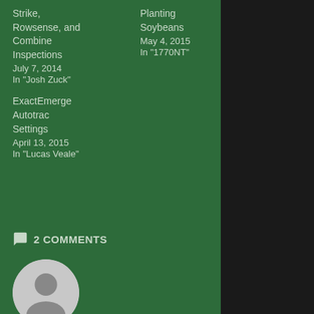Strike, Rowsense, and Combine Inspections
July 7, 2014
In "Josh Zuck"
Planting Soybeans
May 4, 2015
In "1770NT"
ExactEmerge Autotrac Settings
April 13, 2015
In "Lucas Veale"
2 COMMENTS
[Figure (illustration): Gray default user avatar circle with silhouette icon]